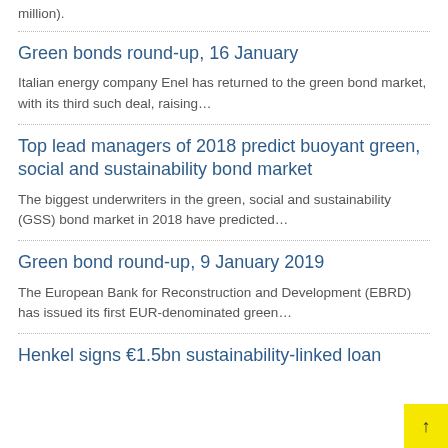million).
Green bonds round-up, 16 January
Italian energy company Enel has returned to the green bond market, with its third such deal, raising…
Top lead managers of 2018 predict buoyant green, social and sustainability bond market
The biggest underwriters in the green, social and sustainability (GSS) bond market in 2018 have predicted…
Green bond round-up, 9 January 2019
The European Bank for Reconstruction and Development (EBRD) has issued its first EUR-denominated green…
Henkel signs €1.5bn sustainability-linked loan